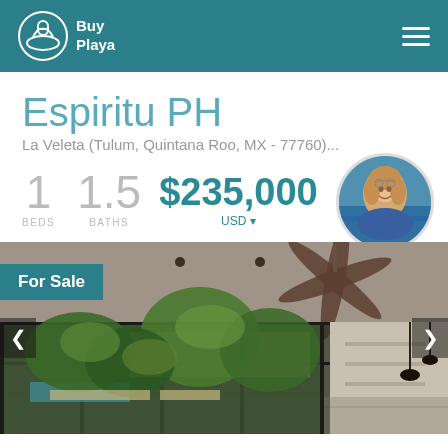BuyPlaya
Espiritu PH
La Veleta (Tulum, Quintana Roo, MX - 77760)...
1 BEDS  1.5 BATHS  $235,000 USD
[Figure (photo): Agent photo of Marieke Brown]
Marieke Brown
[Figure (photo): Interior photo of a modern penthouse with ceiling fan, glass sliding doors opening to tropical garden with palm trees and pool view, concrete walls and ceiling]
For Sale